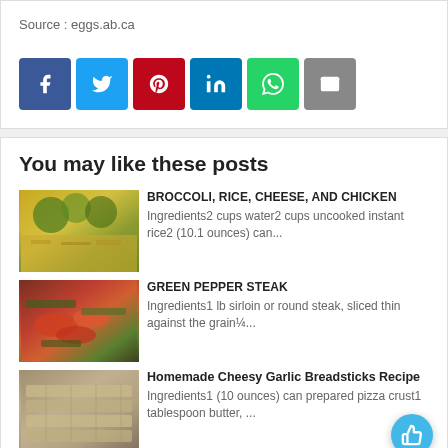Source : eggs.ab.ca
[Figure (infographic): Social share buttons: Facebook (blue), Twitter (light blue), Pinterest (red), LinkedIn (dark blue), WhatsApp (green), Email (gray)]
You may like these posts
[Figure (photo): Food photo: broccoli, rice, cheese and chicken casserole dish]
BROCCOLI, RICE, CHEESE, AND CHICKEN
Ingredients2 cups water2 cups uncooked instant rice2 (10.1 ounces) can...
[Figure (photo): Food photo: green pepper steak with bell peppers and tomatoes]
GREEN PEPPER STEAK
Ingredients1 lb sirloin or round steak, sliced thin against the grain¼...
[Figure (photo): Food photo: homemade cheesy garlic breadsticks on a baking sheet]
Homemade Cheesy Garlic Breadsticks Recipe
Ingredients1 (10 ounces) can prepared pizza crust1 tablespoon butter, ...